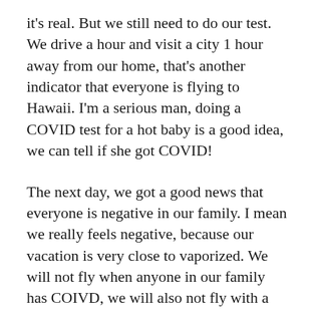it's real. But we still need to do our test. We drive a hour and visit a city 1 hour away from our home, that's another indicator that everyone is flying to Hawaii. I'm a serious man, doing a COVID test for a hot baby is a good idea, we can tell if she got COVID!
The next day, we got a good news that everyone is negative in our family. I mean we really feels negative, because our vacation is very close to vaporized. We will not fly when anyone in our family has COIVD, we will also not fly with a hot baby! Oh, I forgot the good news that we are COVID negative. One thing is off the list, but our little flower is still fever “not free” on that morning! It’s 48 hours until